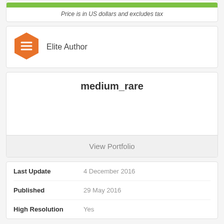Price is in US dollars and excludes tax
Elite Author
medium_rare
View Portfolio
| Field | Value |
| --- | --- |
| Last Update | 4 December 2016 |
| Published | 29 May 2016 |
| High Resolution | Yes |